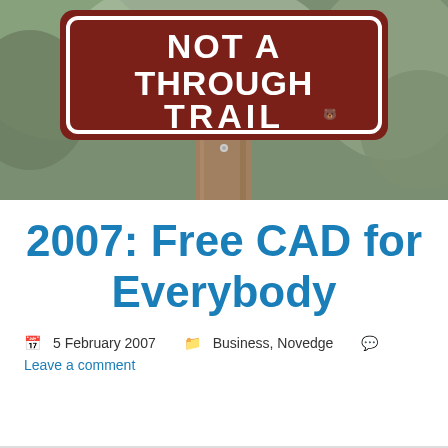[Figure (photo): Close-up photo of a brown park/trail sign reading 'NOT A THROUGH TRAIL' in white text, mounted on a wooden post, with blurred green forest background.]
2007: Free CAD for Everybody
5 February 2007   Business, Novedge   Leave a comment